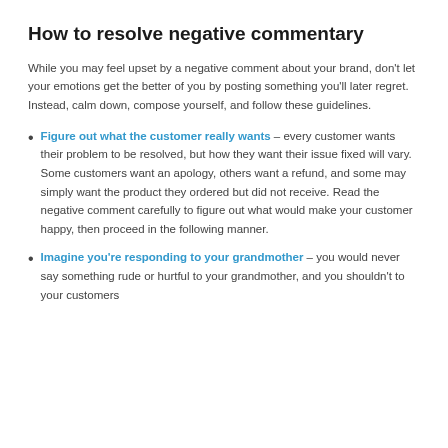How to resolve negative commentary
While you may feel upset by a negative comment about your brand, don't let your emotions get the better of you by posting something you'll later regret. Instead, calm down, compose yourself, and follow these guidelines.
Figure out what the customer really wants – every customer wants their problem to be resolved, but how they want their issue fixed will vary. Some customers want an apology, others want a refund, and some may simply want the product they ordered but did not receive. Read the negative comment carefully to figure out what would make your customer happy, then proceed in the following manner.
Imagine you're responding to your grandmother – you would never say something rude or hurtful to your grandmother, and you shouldn't to your customers